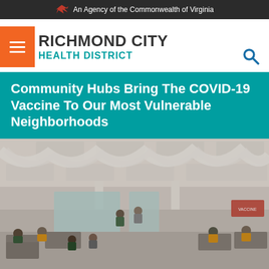An Agency of the Commonwealth of Virginia
RICHMOND CITY
HEALTH DISTRICT
Community Hubs Bring The COVID-19 Vaccine To Our Most Vulnerable Neighborhoods
[Figure (photo): Interior of a large community center being used as a COVID-19 vaccination hub. People seated at tables and standing, some in yellow vests, with white fabric draped from the ceiling and large windows in the background.]